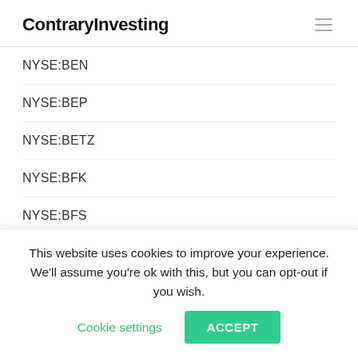ContraryInvesting
NYSE:BEN
NYSE:BEP
NYSE:BETZ
NYSE:BFK
NYSE:BFS
NYSE:BFZ
NYSE:BG
NYSE:BGB
NYSE:BGH
This website uses cookies to improve your experience. We'll assume you're ok with this, but you can opt-out if you wish. Cookie settings ACCEPT